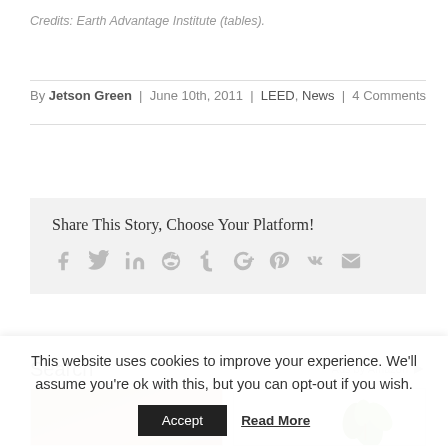Credits: Earth Advantage Institute (tables).
By Jetson Green | June 10th, 2011 | LEED, News | 4 Comments
Share This Story, Choose Your Platform!
[Figure (infographic): Social sharing icons: Facebook, Twitter, LinkedIn, Reddit, Tumblr, Google+, Pinterest, Vk, Email]
Search
Ads by Amazon
[Figure (photo): Advertisement image showing cardboard/tan material]
[Figure (photo): Advertisement image showing green plant/herb]
This website uses cookies to improve your experience. We'll assume you're ok with this, but you can opt-out if you wish.
Accept | Read More